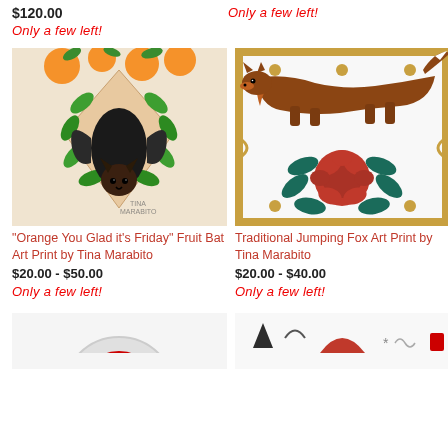$120.00
Only a few left!
Only a few left!
[Figure (illustration): Hanging fruit bat surrounded by orange fruits and green leaves, illustrated art print by Tina Marabito]
[Figure (illustration): Jumping fox over roses with tattoo style art print by Tina Marabito]
"Orange You Glad it's Friday" Fruit Bat Art Print by Tina Marabito
$20.00 - $50.00
Only a few left!
Traditional Jumping Fox Art Print by Tina Marabito
$20.00 - $40.00
Only a few left!
[Figure (illustration): Partially visible circular red illustration at bottom left]
[Figure (illustration): Partially visible decorative illustration with icons at bottom right]